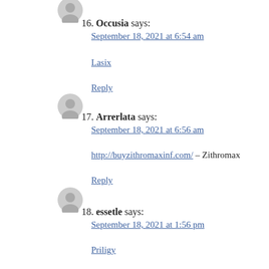[Figure (illustration): Grey avatar placeholder icon for comment 16]
16. Occusia says:
September 18, 2021 at 6:54 am
Lasix
Reply
[Figure (illustration): Grey avatar placeholder icon for comment 17]
17. Arrerlata says:
September 18, 2021 at 6:56 am
http://buyzithromaxinf.com/ – Zithromax
Reply
[Figure (illustration): Grey avatar placeholder icon for comment 18]
18. essetle says:
September 18, 2021 at 1:56 pm
Priligy